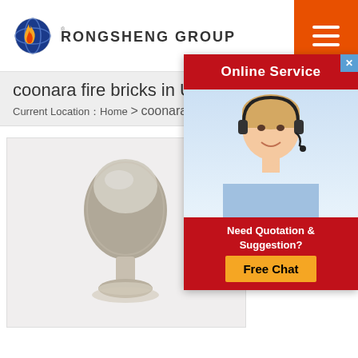[Figure (logo): Rongsheng Group logo with flame and globe icon]
coonara fire bricks in Ur
Current Location：Home > coonara fire br
[Figure (photo): Product image: grey powder material shaped like a trophy/cone on a white background, with Rongsheng logo badge top-left]
Pav
Mo
New
Montevideo Uruguay on
[Figure (screenshot): Online Service popup with red header, female customer service agent with headset, 'Need Quotation & Suggestion?' text, Free Chat button]
Get Price